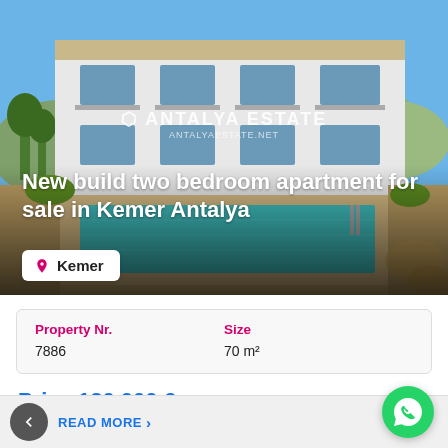[Figure (photo): Exterior photo of a modern white apartment building with balconies, swimming pool in foreground, mountains and blue sky in background. Antalya Estate watermark visible in center.]
New build two bedroom apartment for sale in Kemer Antalya
Kemer
| Property Nr. | Size |
| --- | --- |
| 7886 | 70 m² |
Price 120,000 €
READ MORE >